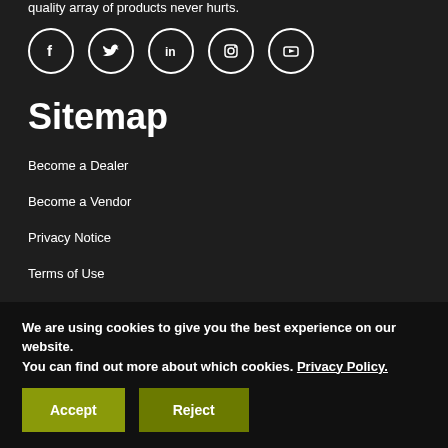quality array of products never hurts.
[Figure (illustration): Five social media icons in circles (Facebook, Twitter, LinkedIn, Instagram, YouTube)]
Sitemap
Become a Dealer
Become a Vendor
Privacy Notice
Terms of Use
Contact Us
Blog
We are using cookies to give you the best experience on our website.
You can find out more about which cookies. Privacy Policy.
Accept | Reject